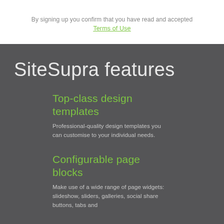By signing up you confirm that you have read and accepted
Terms of Use
SiteSupra features
Top-class design templates
Professional-quality design templates you can customise to your individual needs.
Configurable page blocks
Make use of a wide range of page widgets: slideshow, sliders, galleries, social share buttons, tabs and...